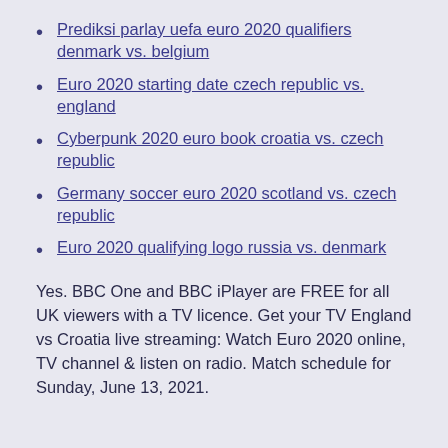Prediksi parlay uefa euro 2020 qualifiers denmark vs. belgium
Euro 2020 starting date czech republic vs. england
Cyberpunk 2020 euro book croatia vs. czech republic
Germany soccer euro 2020 scotland vs. czech republic
Euro 2020 qualifying logo russia vs. denmark
Yes. BBC One and BBC iPlayer are FREE for all UK viewers with a TV licence. Get your TV England vs Croatia live streaming: Watch Euro 2020 online, TV channel & listen on radio. Match schedule for Sunday, June 13, 2021.